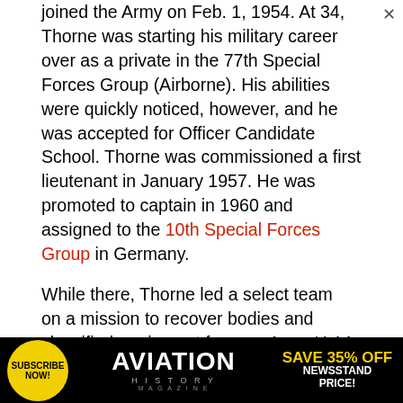joined the Army on Feb. 1, 1954. At 34, Thorne was starting his military career over as a private in the 77th Special Forces Group (Airborne). His abilities were quickly noticed, however, and he was accepted for Officer Candidate School. Thorne was commissioned a first lieutenant in January 1957. He was promoted to captain in 1960 and assigned to the 10th Special Forces Group in Germany.
While there, Thorne led a select team on a mission to recover bodies and classified equipment from an Army U-1A Otter transport plane that went down in bad weather in January 1962 and crashed in the Zagros Mountains of Iran, near the Soviet border. Several rescue missions had already failed, but the Army wanted to bring back the remains of its
[Figure (other): Advertisement banner for Aviation History Magazine: yellow circle with 'SUBSCRIBE NOW!' text, Aviation History magazine logo in white on black background, and 'SAVE 35% OFF NEWSSTAND PRICE!' text in yellow and white]